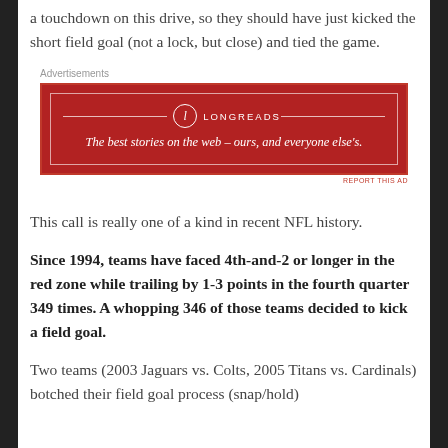a touchdown on this drive, so they should have just kicked the short field goal (not a lock, but close) and tied the game.
[Figure (other): Advertisement banner for Longreads: dark red background with white border, Longreads logo (circle with L), and tagline 'The best stories on the web – ours, and everyone else's.']
This call is really one of a kind in recent NFL history.
Since 1994, teams have faced 4th-and-2 or longer in the red zone while trailing by 1-3 points in the fourth quarter 349 times. A whopping 346 of those teams decided to kick a field goal.
Two teams (2003 Jaguars vs. Colts, 2005 Titans vs. Cardinals) botched their field goal process (snap/hold)